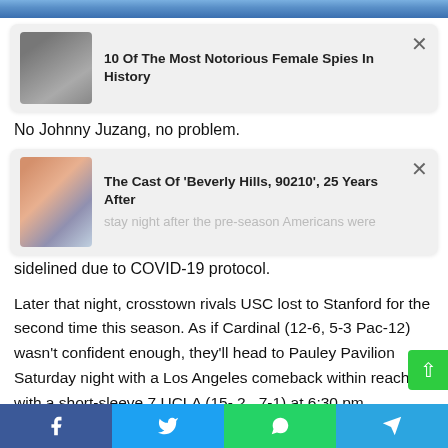[Figure (photo): Sports photo banner at top of page with blue and white colors]
[Figure (screenshot): Ad card: black and white photo of woman with text '10 Of The Most Notorious Female Spies In History' with X close button]
No Johnny Juzang, no problem.
[Figure (screenshot): Ad card: group photo of Beverly Hills 90210 cast with text 'The Cast Of Beverly Hills, 90210, 25 Years After' with X close button, overlapping article text about COVID-19 protocol]
sidelined due to COVID-19 protocol.
Later that night, crosstown rivals USC lost to Stanford for the second time this season. As if Cardinal (12-6, 5-3 Pac-12) wasn't confident enough, they'll head to Pauley Pavilion Saturday night with a Los Angeles comeback within reach with a short-sleeve 7 UCLA (15- 2 , 7-1) at 6:30 pm
"It's reported UCLA's coach Mick Cronin said of Saturday...